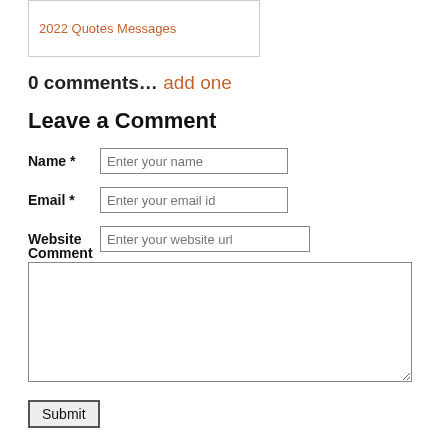2022 Quotes Messages
0 comments… add one
Leave a Comment
Name * [Enter your name]
Email * [Enter your email id]
Website [Enter your website url]
Comment
Submit